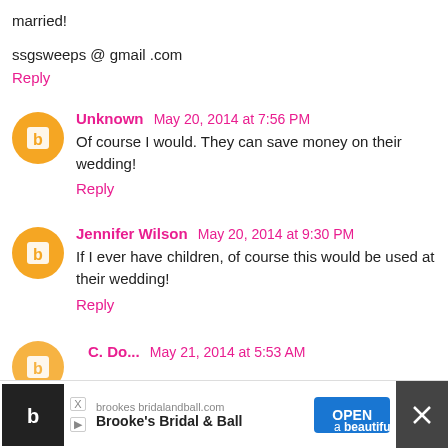married!
ssgsweeps @ gmail .com
Reply
Unknown May 20, 2014 at 7:56 PM
Of course I would. They can save money on their wedding!
Reply
Jennifer Wilson May 20, 2014 at 9:30 PM
If I ever have children, of course this would be used at their wedding!
Reply
C. Do... May 21, 2014 at 5:53 AM